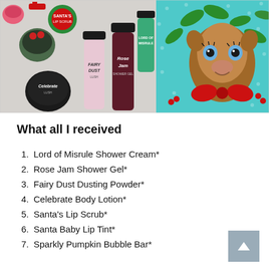[Figure (photo): Flat lay photo of Lush Christmas products including Lord of Misrule Shower Cream, Rose Jam Shower Gel, Fairy Dust, Celebrate Body Lotion, Santa's Lip Scrub on a gray background, next to a teal drawstring bag with a reindeer motif wearing a red bow]
What all I received
1. Lord of Misrule Shower Cream*
2. Rose Jam Shower Gel*
3. Fairy Dust Dusting Powder*
4. Celebrate Body Lotion*
5. Santa's Lip Scrub*
6. Santa Baby Lip Tint*
7. Sparkly Pumpkin Bubble Bar*